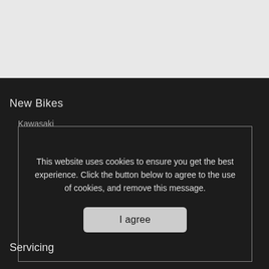[Figure (screenshot): Top light gray band representing a website header/hero area]
New Bikes
Kawasaki
Mutt Motorcycles
Benelli
Sym
Keeway
This website uses cookies to ensure you get the best experience. Click the button below to agree to the use of cookies, and remove this message.
I agree
Servicing